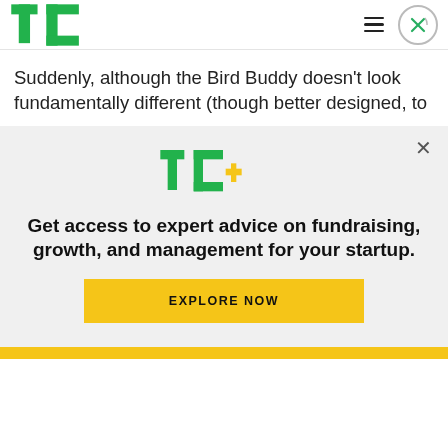TechCrunch navigation bar with TC logo, hamburger menu, and close button
Suddenly, although the Bird Buddy doesn't look fundamentally different (though better designed, to
[Figure (logo): TC+ logo in green and yellow]
Get access to expert advice on fundraising, growth, and management for your startup.
EXPLORE NOW